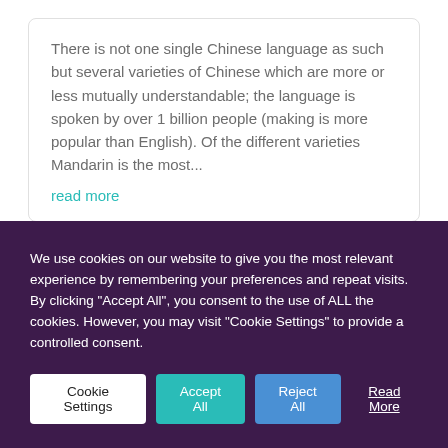There is not one single Chinese language as such but several varieties of Chinese which are more or less mutually understandable; the language is spoken by over 1 billion people (making is more popular than English). Of the different varieties Mandarin is the most...
read more
We use cookies on our website to give you the most relevant experience by remembering your preferences and repeat visits. By clicking "Accept All", you consent to the use of ALL the cookies. However, you may visit "Cookie Settings" to provide a controlled consent.